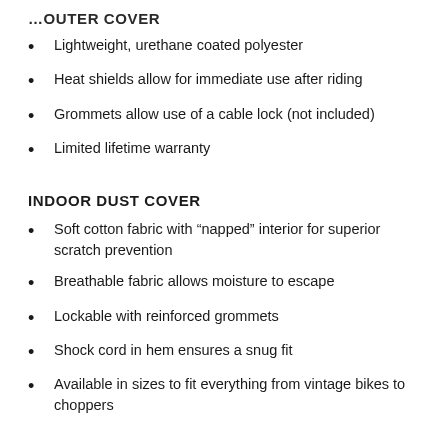…OUTER COVER
Lightweight, urethane coated polyester
Heat shields allow for immediate use after riding
Grommets allow use of a cable lock (not included)
Limited lifetime warranty
INDOOR DUST COVER
Soft cotton fabric with “napped” interior for superior scratch prevention
Breathable fabric allows moisture to escape
Lockable with reinforced grommets
Shock cord in hem ensures a snug fit
Available in sizes to fit everything from vintage bikes to choppers